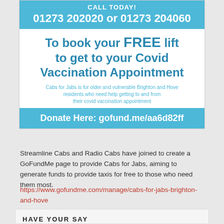[Figure (infographic): Cabs for Jabs advertisement box. Top blue banner: CALL TODAY! 01273 202020 or 01273 204060. White middle section: To book your FREE lift to get to your Covid Vaccination Appointment. Subtext: Cabs for Jabs is for older and vulnerable Brighton and Hove residents who need help getting to and from their covid vaccination appointment. Bottom blue banner: Donate Here: gofund.me/aa6d82ff]
Streamline Cabs and Radio Cabs have joined to create a GoFundMe page to provide Cabs for Jabs, aiming to generate funds to provide taxis for free to those who need them most.
https://www.gofundme.com/manage/cabs-for-jabs-brighton-and-hove
HAVE YOUR SAY